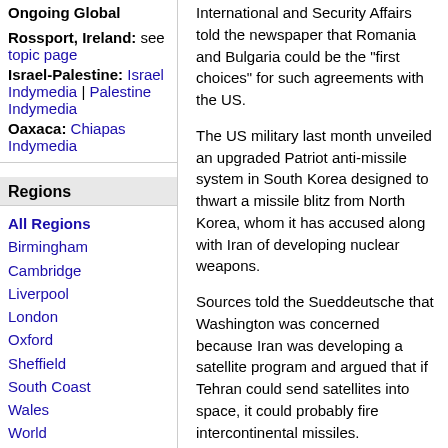Ongoing Global
Rossport, Ireland: see topic page
Israel-Palestine: Israel Indymedia | Palestine Indymedia
Oaxaca: Chiapas Indymedia
Regions
All Regions
Birmingham
Cambridge
Liverpool
London
Oxford
Sheffield
South Coast
Wales
World
Other Local IMCs
International and Security Affairs told the newspaper that Romania and Bulgaria could be the "first choices" for such agreements with the US.
The US military last month unveiled an upgraded Patriot anti-missile system in South Korea designed to thwart a missile blitz from North Korea, whom it has accused along with Iran of developing nuclear weapons.
Sources told the Sueddeutsche that Washington was concerned because Iran was developing a satellite program and argued that if Tehran could send satellites into space, it could probably fire intercontinental missiles.
The UN's International Atomic Energy Agency (IAEA) has given Iran until the end of October to produce a detailed list of its nuclear-related equipment, cease uranium enrichment and sign additional protocols to the nuclear...